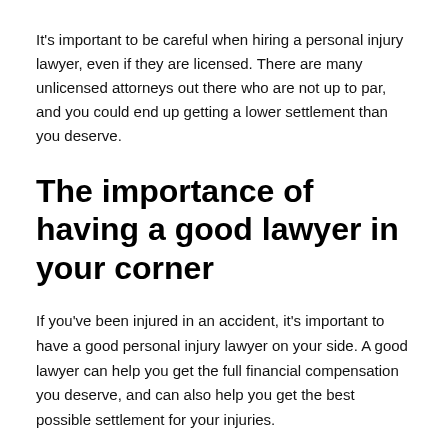It's important to be careful when hiring a personal injury lawyer, even if they are licensed. There are many unlicensed attorneys out there who are not up to par, and you could end up getting a lower settlement than you deserve.
The importance of having a good lawyer in your corner
If you've been injured in an accident, it's important to have a good personal injury lawyer on your side. A good lawyer can help you get the full financial compensation you deserve, and can also help you get the best possible settlement for your injuries.
There are a lot of factors to consider when choosing a